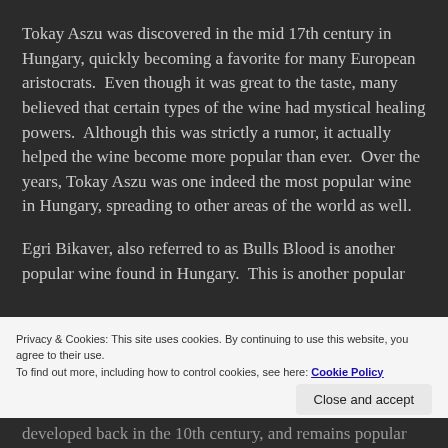Tokay Aszu was discovered in the mid 17th century in Hungary, quickly becoming a favorite for many European aristocrats.  Even though it was great to the taste, many believed that certain types of the wine had mystical healing powers.  Although this was strictly a rumor, it actually helped the wine become more popular than ever.  Over the years, Tokay Aszu was one indeed the most popular wine in Hungary, spreading to other areas of the world as well.
Egri Bikaver, also referred to as Bulls Blood is another popular wine found in Hungary.  This is another popular
Privacy & Cookies: This site uses cookies. By continuing to use this website, you agree to their use.
To find out more, including how to control cookies, see here: Cookie Policy
developed back in the 10th century, and remains popular